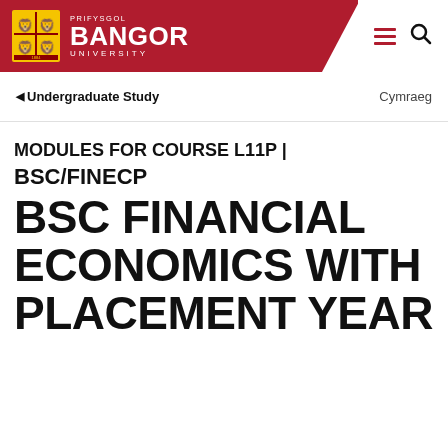PRIFYSGOL BANGOR UNIVERSITY
◄ Undergraduate Study    Cymraeg
MODULES FOR COURSE L11P | BSC/FINECP BSC FINANCIAL ECONOMICS WITH PLACEMENT YEAR